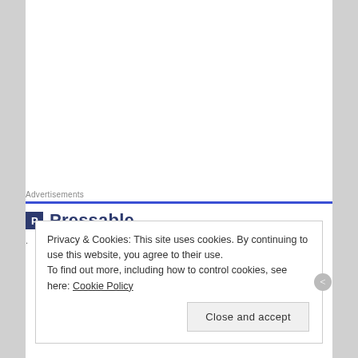Advertisements
[Figure (logo): Pressable logo with blue P icon and bold text]
Privacy & Cookies: This site uses cookies. By continuing to use this website, you agree to their use.
To find out more, including how to control cookies, see here: Cookie Policy
Close and accept